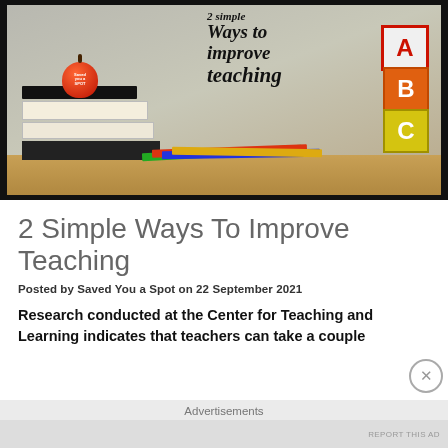[Figure (photo): Blog header image showing stacked books with a red apple on top, ABC alphabet blocks, colored pencils on a wooden table, with handwritten-style text overlay reading '2 Simple Ways to improve teaching']
2 Simple Ways To Improve Teaching
Posted by Saved You a Spot on 22 September 2021
Research conducted at the Center for Teaching and Learning indicates that teachers can take a couple
Advertisements